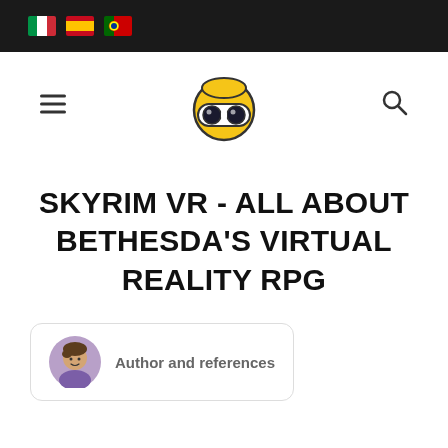Navigation bar with flag icons (Italian, Spanish, Portuguese), hamburger menu, site logo, and search icon
SKYRIM VR - ALL ABOUT BETHESDA'S VIRTUAL REALITY RPG
Author and references